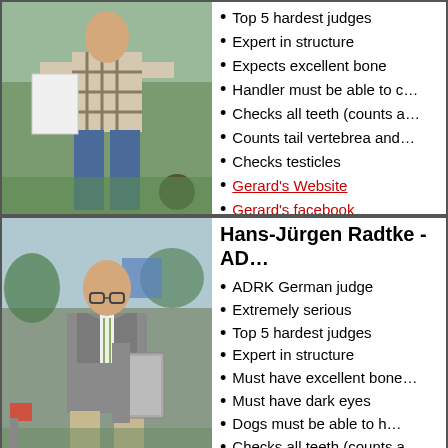[Figure (photo): Man in plaid shirt and jeans standing outdoors at a dog show, holding a white clipboard/board]
Top 5 hardest judges
Expert in structure
Expects excellent bone
Handler must be able to c…
Checks all teeth (counts a…
Counts tail vertebrea and…
Checks testicles
Gerard's Website
Gerard's facebook
[Figure (photo): Bald man in grey suit with striped tie walking outdoors at a dog show, holding a clipboard]
Hans-Jürgen Radtke - AD…
ADRK German judge
Extremely serious
Top 5 hardest judges
Expert in structure
Must have excellent bone…
Must have dark eyes
Dogs must be able to h…
Checks all teeth (counts a…
Counts tail vertebrea and…